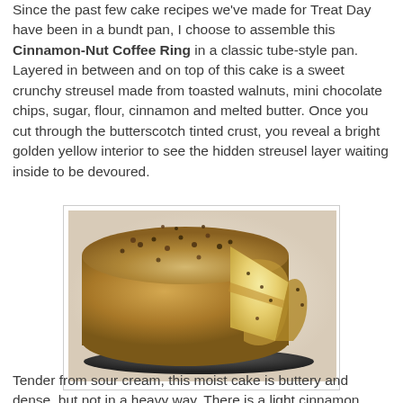Since the past few cake recipes we've made for Treat Day have been in a bundt pan, I choose to assemble this Cinnamon-Nut Coffee Ring in a classic tube-style pan. Layered in between and on top of this cake is a sweet crunchy streusel made from toasted walnuts, mini chocolate chips, sugar, flour, cinnamon and melted butter. Once you cut through the butterscotch tinted crust, you reveal a bright golden yellow interior to see the hidden streusel layer waiting inside to be devoured.
[Figure (photo): A Cinnamon-Nut Coffee Ring cake on a dark round plate, with a slice cut out revealing the golden yellow interior with a streusel layer and chocolate chip/nut topping on top.]
Tender from sour cream, this moist cake is buttery and dense, but not in a heavy way. There is a light cinnamon